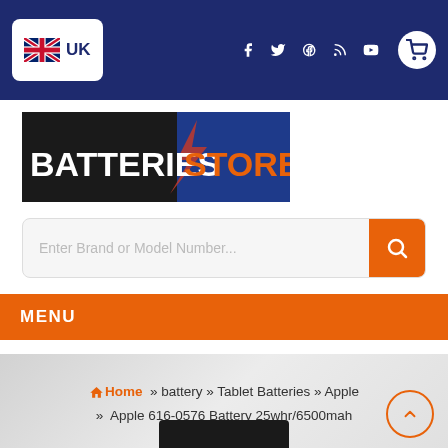UK — navigation bar with social icons and cart
[Figure (logo): BatteriesStore logo — white text BATTERIES and orange text STORE on dark background with lightning bolt graphic]
Enter Brand or Model Number...
MENU
Home » battery » Tablet Batteries » Apple » Apple 616-0576 Battery 25whr/6500mah